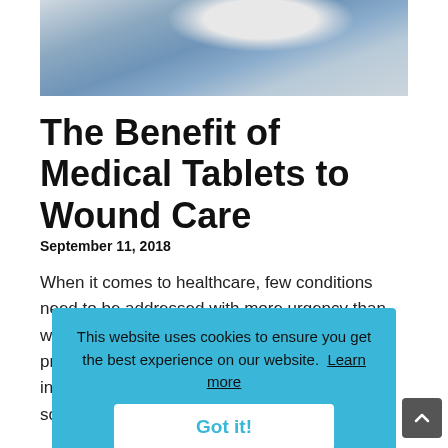[Figure (photo): Photo of a medical professional in blue scrubs, partially cropped, holding something — top portion of image visible]
The Benefit of Medical Tablets to Wound Care
September 11, 2018
When it comes to healthcare, few conditions need to be addressed with more urgency than wounds and similar injuries. Treating wounds promptly can reduce scarring, lower the risk of infection and speed the healing process. The sooner medical personnel can examine and
This website uses cookies to ensure you get the best experience on our website.  Learn more
Got it!